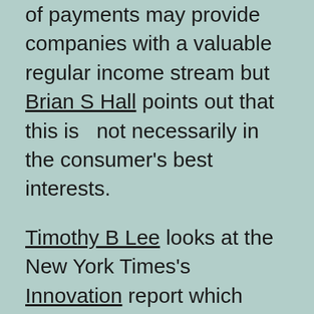of payments may provide companies with a valuable regular income stream but Brian S Hall points out that this is   not necessarily in the consumer's best interests.
Timothy B Lee looks at the New York Times's Innovation report which identifies new disruptive players, but also suggests that the organisation like many incumbents is poorly placed to meet the challenge of new entrants.
Game Oven recently wrote a piece looking at the difficulties in writing software for Android given the fragmented hardware and software